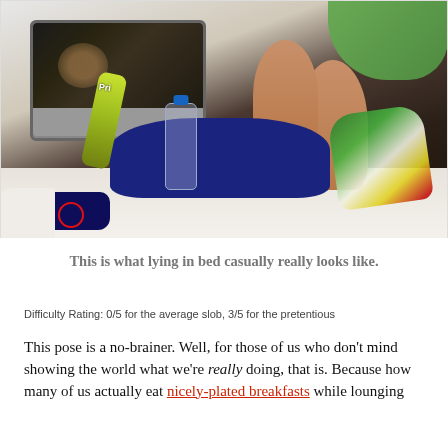[Figure (photo): Overhead view of a person lying in bed with a laptop playing a video, a Pringles can, an open bag of chips, a water bottle, and Pepsi socks visible on white bedding. Person wearing navy blue shorts.]
This is what lying in bed casually really looks like.
Difficulty Rating: 0/5 for the average slob, 3/5 for the pretentious
This pose is a no-brainer. Well, for those of us who don't mind showing the world what we're really doing, that is. Because how many of us actually eat nicely-plated breakfasts while lounging